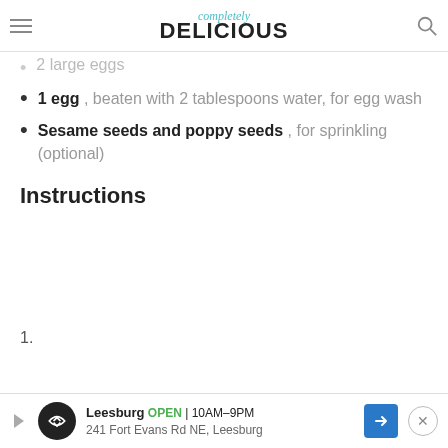completely DELICIOUS
2 large eggs
1 egg , beaten with 2 tablespoons water, for egg wash
Sesame seeds and poppy seeds , for sprinkling (optional)
Instructions
1.
Leesburg OPEN | 10AM–9PM 241 Fort Evans Rd NE, Leesburg